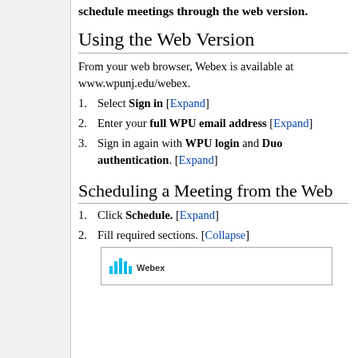schedule meetings through the web version.
Using the Web Version
From your web browser, Webex is available at www.wpunj.edu/webex.
Select Sign in [Expand]
Enter your full WPU email address [Expand]
Sign in again with WPU login and Duo authentication. [Expand]
Scheduling a Meeting from the Web
Click Schedule. [Expand]
Fill required sections. [Collapse]
[Figure (logo): Cisco Webex logo at bottom of page]